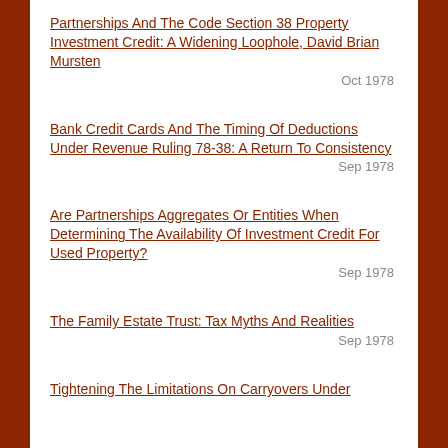Partnerships And The Code Section 38 Property Investment Credit: A Widening Loophole, David Brian Mursten
Oct 1978
Bank Credit Cards And The Timing Of Deductions Under Revenue Ruling 78-38: A Return To Consistency
Sep 1978
Are Partnerships Aggregates Or Entities When Determining The Availability Of Investment Credit For Used Property?
Sep 1978
The Family Estate Trust: Tax Myths And Realities
Sep 1978
Tightening The Limitations On Carryovers Under